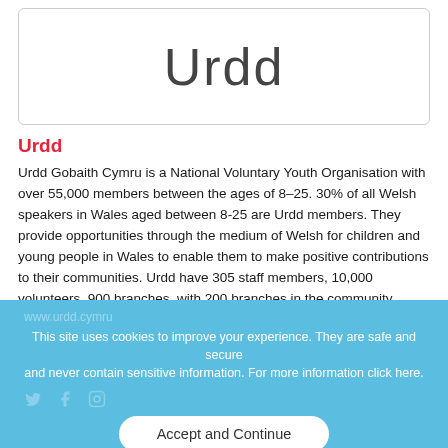[Figure (logo): Urdd logo text displayed in a bordered rounded rectangle box]
Urdd
Urdd Gobaith Cymru is a National Voluntary Youth Organisation with over 55,000 members between the ages of 8–25. 30% of all Welsh speakers in Wales aged between 8-25 are Urdd members. They provide opportunities through the medium of Welsh for children and young people in Wales to enable them to make positive contributions to their communities. Urdd have 305 staff members, 10,000 volunteers, 900 branches, with 200 branches in the community.
www.urdd.cymru
This site uses cookies to improve your experience. They are safe and secure and never contain sensitive information. For more information click here.
Accept and Continue